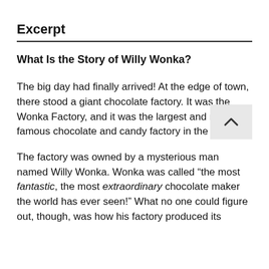Excerpt
What Is the Story of Willy Wonka?
The big day had finally arrived! At the edge of town, there stood a giant chocolate factory. It was the Wonka Factory, and it was the largest and most famous chocolate and candy factory in the w
The factory was owned by a mysterious man named Willy Wonka. Wonka was called “the most fantastic, the most extraordinary chocolate maker the world has ever seen!” What no one could figure out, though, was how his factory produced its